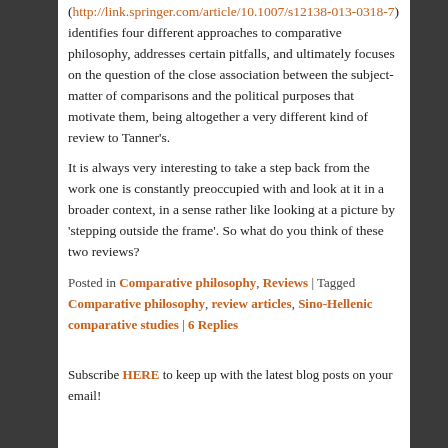(http://link.springer.com/article/10.1007/s12138-013-0318-7) identifies four different approaches to comparative philosophy, addresses certain pitfalls, and ultimately focuses on the question of the close association between the subject-matter of comparisons and the political purposes that motivate them, being altogether a very different kind of review to Tanner's.
It is always very interesting to take a step back from the work one is constantly preoccupied with and look at it in a broader context, in a sense rather like looking at a picture by 'stepping outside the frame'. So what do you think of these two reviews?
Posted in Comparative philosophy, Reviews | Tagged Comparative philosophy, review articles, Sino-Hellenic comparative studies | 6 Replies
Subscribe HERE to keep up with the latest blog posts on your email!